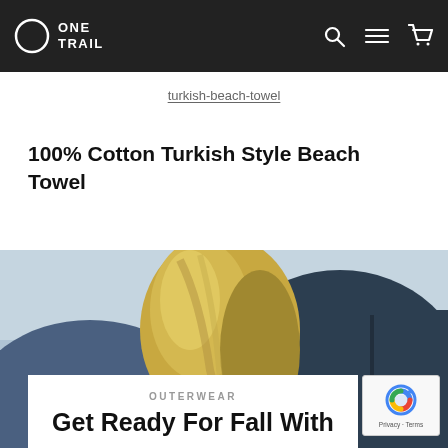ONE TRAIL
turkish-beach-towel
100% Cotton Turkish Style Beach Towel
[Figure (photo): Close-up photo of a person with blonde hair wearing a dark navy blue outerwear/jacket, photographed against a light blue sky background.]
OUTERWEAR
Get Ready For Fall With